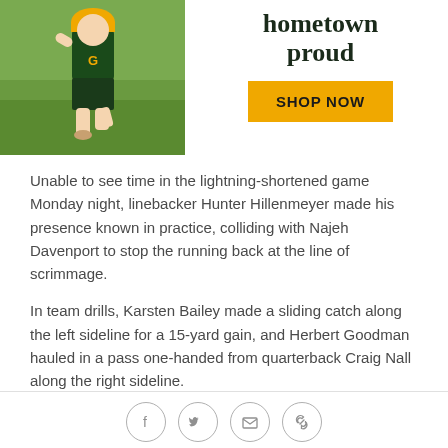[Figure (photo): Child wearing green and yellow Packers outfit running on grass, ad image]
hometown proud
SHOP NOW
Unable to see time in the lightning-shortened game Monday night, linebacker Hunter Hillenmeyer made his presence known in practice, colliding with Najeh Davenport to stop the running back at the line of scrimmage.
In team drills, Karsten Bailey made a sliding catch along the left sideline for a 15-yard gain, and Herbert Goodman hauled in a pass one-handed from quarterback Craig Nall along the right sideline.
[Figure (other): Social sharing icons: Facebook, Twitter, email, link]